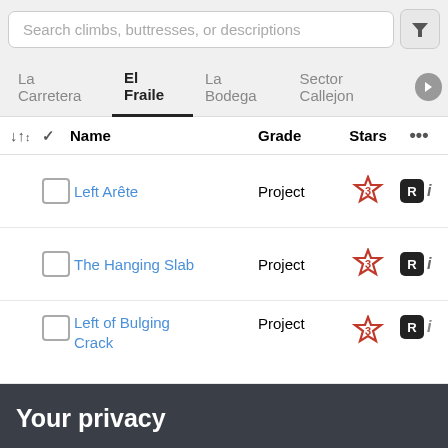Search climbs, buttresses, or descriptions
La Carretera | El Fraile | La Bodega | Sector Callejon
|  |  | Name | Grade | Stars | ... |
| --- | --- | --- | --- | --- | --- |
| ☐ |  | Left Arête | Project | ★3 | R i |
| ☐ |  | The Hanging Slab | Project | ★3 | R i |
| ☐ |  | Left of Bulging Crack | Project | ★3 | R i |
Your privacy
We use cookies to improve your experience on our site. To find out more, read our privacy policy and cookie policy.
✓ OK   More information